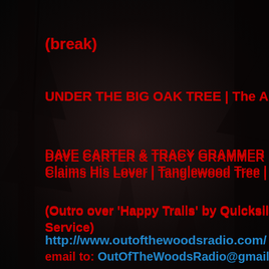(break)
UNDER THE BIG OAK TREE | The Ark | The A
DAVE CARTER & TRACY GRAMMER | Cat-E Claims His Lover | Tanglewood Tree | Signat
(Outro over 'Happy Trails' by Quicksilver Me Service)
http://www.outofthewoodsradio.com/
email to: OutOfTheWoodsRadio@gmail.com
Promotional materials and music to:
Jon Colcord